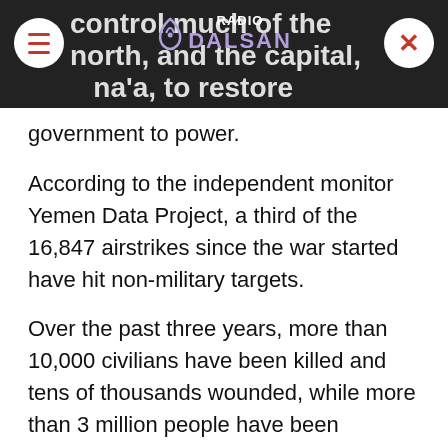control much of the north, and the capital, Sana'a, to restore the internationally recognised government to power.
According to the independent monitor Yemen Data Project, a third of the 16,847 airstrikes since the war started have hit non-military targets.
Over the past three years, more than 10,000 civilians have been killed and tens of thousands wounded, while more than 3 million people have been displaced because of the fighting.
UN officials and rights groups accused the coalition of committing war crimes and of being responsible for most of the killings.